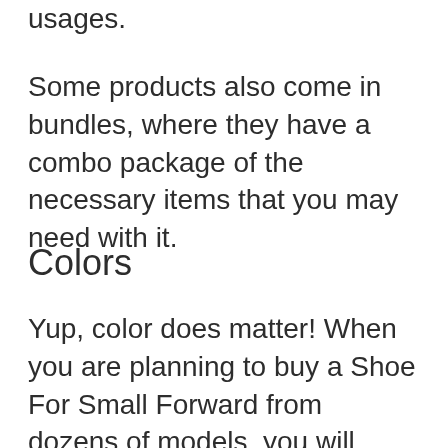usages.
Some products also come in bundles, where they have a combo package of the necessary items that you may need with it.
Colors
Yup, color does matter! When you are planning to buy a Shoe For Small Forward from dozens of models, you will definitely wish to get your desired color. As, color is the symbol of choice, aristocracy